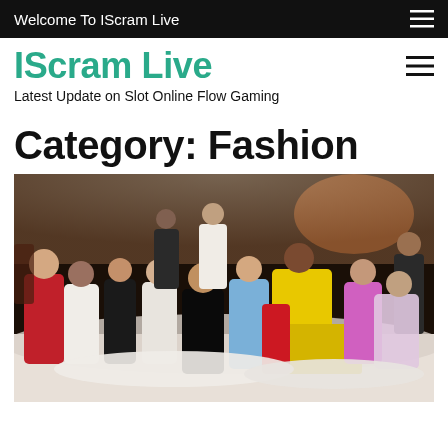Welcome To IScram Live
IScram Live
Latest Update on Slot Online Flow Gaming
Category: Fashion
[Figure (photo): Group photo of fashionably dressed people at what appears to be a gala or fashion event, posing together on white cushioned furniture under a tent-like ceiling with warm lighting.]